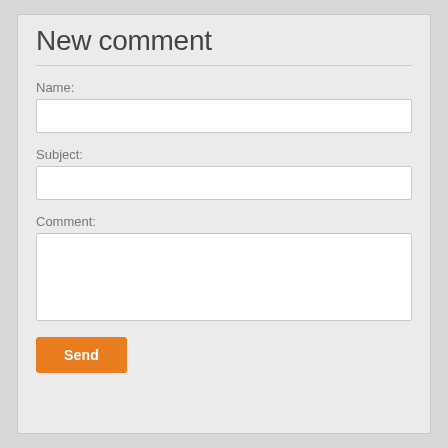New comment
Name:
Subject:
Comment:
Send